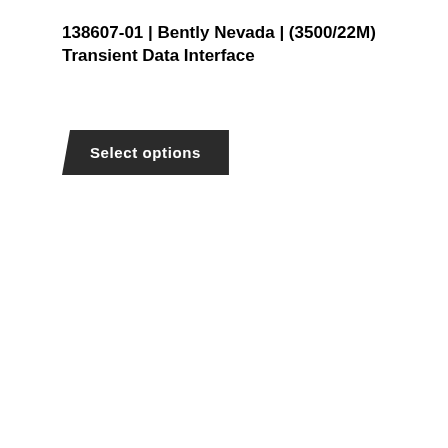138607-01 | Bently Nevada | (3500/22M) Transient Data Interface
[Figure (other): Dark button with white bold text reading 'Select options', with a parallelogram/slanted left edge shape]